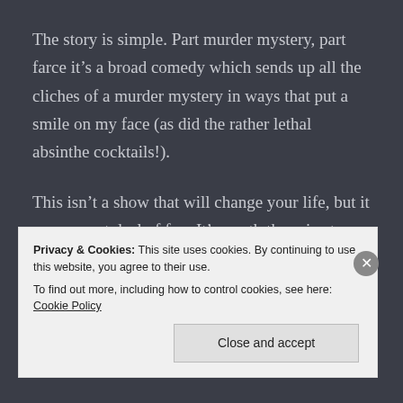The story is simple. Part murder mystery, part farce it's a broad comedy which sends up all the cliches of a murder mystery in ways that put a smile on my face (as did the rather lethal absinthe cocktails!).
This isn't a show that will change your life, but it was a great deal of fun. It's worth the price tag for the meal alone but despite it being less involved than other shows, the action definitely adds key elements to the evening's entertainment.
Privacy & Cookies: This site uses cookies. By continuing to use this website, you agree to their use.
To find out more, including how to control cookies, see here: Cookie Policy